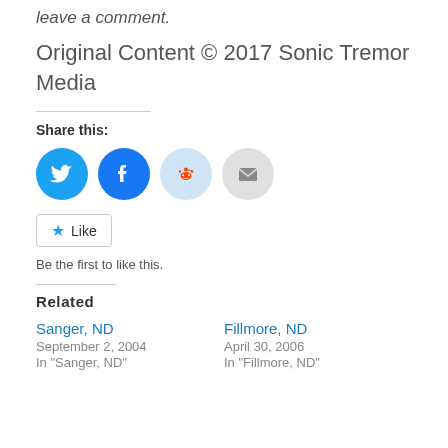leave a comment.
Original Content © 2017 Sonic Tremor Media
Share this:
[Figure (infographic): Social sharing icons: Twitter (blue circle with bird), Facebook (blue circle with f), Reddit (light blue circle with alien mascot), Email (gray circle with envelope)]
[Figure (infographic): Like button with blue star icon and 'Like' label]
Be the first to like this.
Related
Sanger, ND
September 2, 2004
In "Sanger, ND"
Fillmore, ND
April 30, 2006
In "Fillmore, ND"